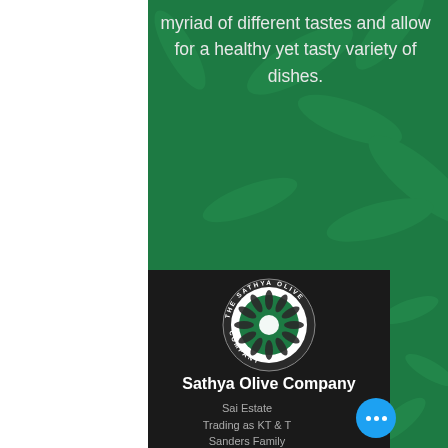myriad of different tastes and allow for a healthy yet tasty variety of dishes.
[Figure (logo): The Sathya Olive Company circular logo with green olive/flower mandala design on dark background, white text around the circumference reading THE SATHYA OLIVE COMPANY]
Sathya Olive Company
Sai Estate
Trading as KT & T
Sanders Family